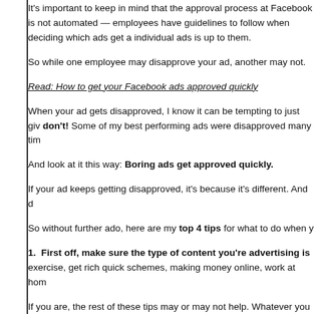It's important to keep in mind that the approval process at Facebook is not automated — employees have guidelines to follow when deciding which ads get approved, but the final decision on individual ads is up to them.
So while one employee may disapprove your ad, another may not.
Read: How to get your Facebook ads approved quickly
When your ad gets disapproved, I know it can be tempting to just give up, but don't! Some of my best performing ads were disapproved many times before getting approved.
And look at it this way: Boring ads get approved quickly.
If your ad keeps getting disapproved, it's because it's different. And different ads perform better.
So without further ado, here are my top 4 tips for what to do when your ad gets disapproved.
1.  First off, make sure the type of content you're advertising isn't prohibited. Facebook prohibits ads for things like: tobacco, adult content, weapons, exercise, get rich quick schemes, making money online, work at home schemes, and more.
If you are, the rest of these tips may or may not help. Whatever you do, don't try to sneak prohibited content past Facebook.